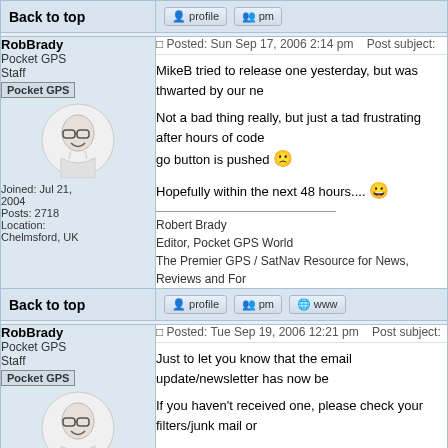Back to top
RobBrady
Pocket GPS Staff
[Pocket GPS badge]
Posted: Sun Sep 17, 2006 2:14 pm    Post subject:
MikeB tried to release one yesterday, but was thwarted by our ne
Not a bad thing really, but just a tad frustrating after hours of code... go button is pushed
Hopefully within the next 48 hours....
Robert Brady
Editor, Pocket GPS World
The Premier GPS / SatNav Resource for News, Reviews and For
Joined: Jul 21, 2004
Posts: 2718
Location: Chelmsford, UK
Back to top
RobBrady
Pocket GPS Staff
[Pocket GPS badge]
Posted: Tue Sep 19, 2006 12:21 pm    Post subject:
Just to let you know that the email update/newsletter has now be
If you haven't received one, please check your filters/junk mail or
Thanks.